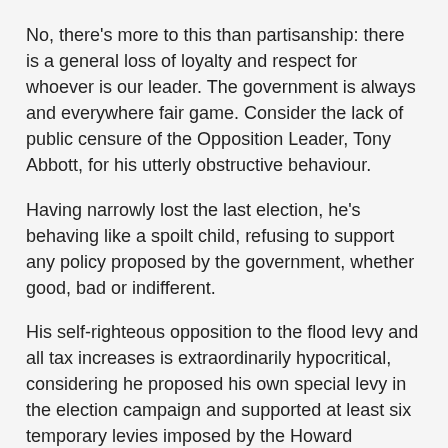No, there's more to this than partisanship: there is a general loss of loyalty and respect for whoever is our leader. The government is always and everywhere fair game. Consider the lack of public censure of the Opposition Leader, Tony Abbott, for his utterly obstructive behaviour.
Having narrowly lost the last election, he's behaving like a spoilt child, refusing to support any policy proposed by the government, whether good, bad or indifferent.
His self-righteous opposition to the flood levy and all tax increases is extraordinarily hypocritical, considering he proposed his own special levy in the election campaign and supported at least six temporary levies imposed by the Howard government, not to mention that ultimate "great big new tax on everything" known as the GST.
What he's saying to the nation is: I'll do all in my power to make Parliament unworkable until you make me leader.
Oh yeah, we reply, fair enough.